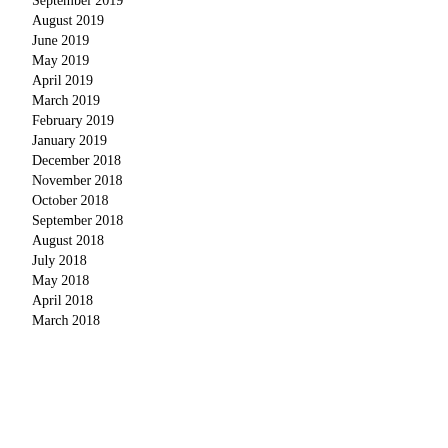September 2019
August 2019
June 2019
May 2019
April 2019
March 2019
February 2019
January 2019
December 2018
November 2018
October 2018
September 2018
August 2018
July 2018
May 2018
April 2018
March 2018